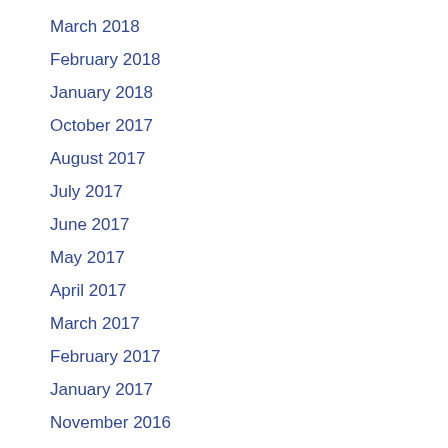March 2018
February 2018
January 2018
October 2017
August 2017
July 2017
June 2017
May 2017
April 2017
March 2017
February 2017
January 2017
November 2016
October 2016
September 2016
August 2016
July 2016